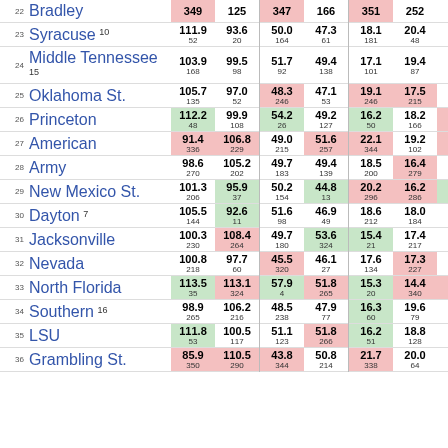| # | Team | Off PPG | Def PPG | Off FG% | Def FG% | Off 3P% | Def 3P% | Tempo |
| --- | --- | --- | --- | --- | --- | --- | --- | --- |
| 22 | Bradley | 349 | 125 | 347 | 166 | 351 | 252 | 312 |
| 23 | Syracuse 10 | 111.9 52 | 93.6 20 | 50.0 164 | 47.3 61 | 18.1 181 | 20.4 48 | 33.5 51 |
| 24 | Middle Tennessee 15 | 103.9 168 | 99.5 98 | 51.7 92 | 49.4 138 | 17.1 101 | 19.4 87 | 28.7 205 |
| 25 | Oklahoma St. | 105.7 135 | 97.0 52 | 48.3 246 | 47.1 53 | 19.1 246 | 17.5 215 | 28.8 139 |
| 26 | Princeton | 112.2 48 | 99.9 108 | 54.2 26 | 49.2 127 | 16.2 50 | 18.2 166 | 28.0 232 |
| 27 | American | 91.4 336 | 106.8 229 | 49.0 215 | 51.6 257 | 22.1 344 | 19.2 102 | 23.5 328 |
| 28 | Army | 98.6 270 | 105.2 202 | 49.7 183 | 49.4 139 | 18.5 200 | 16.4 279 | 31.0 127 |
| 29 | New Mexico St. | 101.3 206 | 95.9 37 | 50.2 154 | 44.8 13 | 20.2 296 | 16.2 286 | 36.0 25 |
| 30 | Dayton 7 | 105.5 144 | 92.6 11 | 51.6 98 | 46.9 49 | 18.6 212 | 18.0 184 | 28.7 202 |
| 31 | Jacksonville | 100.3 230 | 108.4 264 | 49.7 180 | 53.6 324 | 15.4 21 | 17.4 217 | 27.0 201 |
| 32 | Nevada | 100.8 218 | 97.7 60 | 45.5 320 | 46.1 27 | 17.6 134 | 17.3 227 | 30.7 135 |
| 33 | North Florida | 113.5 35 | 113.1 324 | 57.9 4 | 51.8 265 | 15.3 20 | 14.4 340 | 24.1 324 |
| 34 | Southern 16 | 98.9 265 | 106.2 216 | 48.5 238 | 47.9 77 | 16.3 60 | 19.6 79 | 28.1 231 |
| 35 | LSU | 111.8 53 | 100.5 117 | 51.1 123 | 51.8 266 | 16.2 51 | 18.8 128 | 29.8 165 |
| 36 | Grambling St. | 85.9 350 | 110.5 290 | 43.8 344 | 50.8 214 | 21.7 338 | 20.0 64 | 24.9 311 |